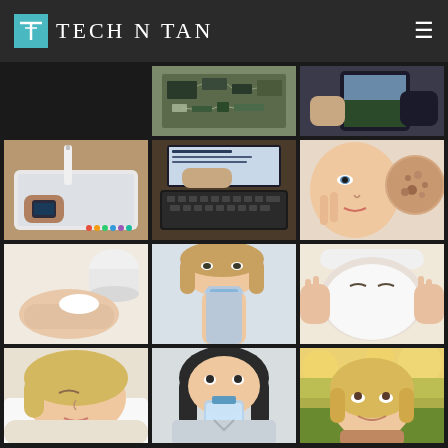TECH N TAN - website header with logo and hamburger menu
[Figure (photo): Grid of lifestyle and beauty/tech photos: electronics/circuit board, person holding iPad, hands using Apple Pencil on iPad with smartwatch, person using tablet with keyboard, woman touching face with skin condition comparison, hand with cream, woman drinking from water bottle, woman with facial mask treatment, woman sleeping, woman drinking water, woman outdoors in sunlight]